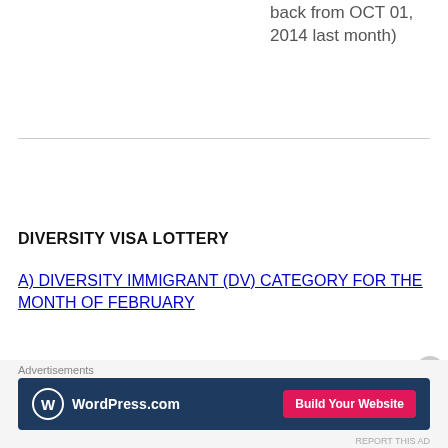back from OCT 01, 2014 last month)
DIVERSITY VISA LOTTERY
A) DIVERSITY IMMIGRANT (DV) CATEGORY FOR THE MONTH OF FEBRUARY
USCIS and DOS can approve pending Form I-485
[Figure (other): WordPress.com advertisement banner with logo and 'Build Your Website' button]